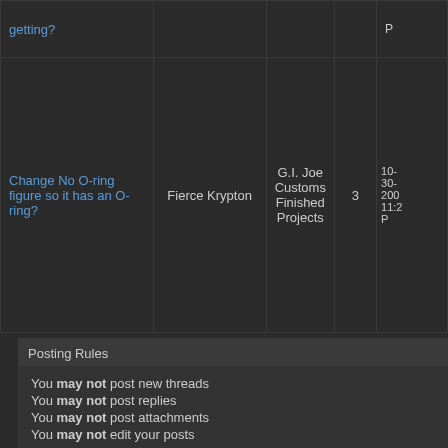| Topic | Author | Forum | Replies | Last Post |
| --- | --- | --- | --- | --- |
| getting? |  |  |  | P... |
| Change No O-ring figure so it has an O-ring? | Fierce Krypton | G.I. Joe Customs Finished Projects | 3 | 10-30-200... 11:2... PM |
Posting Rules
You may not post new threads
You may not post replies
You may not post attachments
You may not edit your posts
BB code is On
Smilies are On
[IMG] code is On
HTML code is Off
Forum Rules
Forum Jump
G.I. Joe Toys Modern & General Discussion
O-Ring Returns to G.I. Joe - Page 186 - G.I. Joe - HissTank.com
SPONSORS